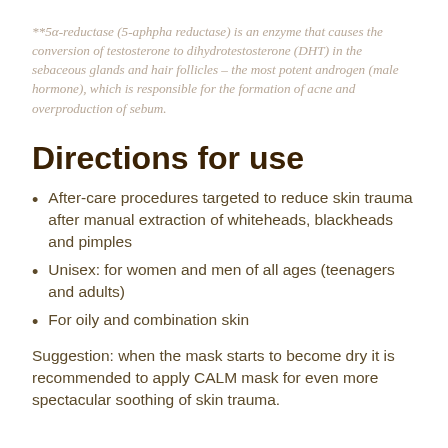**5α-reductase (5-aphpha reductase) is an enzyme that causes the conversion of testosterone to dihydrotestosterone (DHT) in the sebaceous glands and hair follicles – the most potent androgen (male hormone), which is responsible for the formation of acne and overproduction of sebum.
Directions for use
After-care procedures targeted to reduce skin trauma after manual extraction of whiteheads, blackheads and pimples
Unisex: for women and men of all ages (teenagers and adults)
For oily and combination skin
Suggestion: when the mask starts to become dry it is recommended to apply CALM mask for even more spectacular soothing of skin trauma.